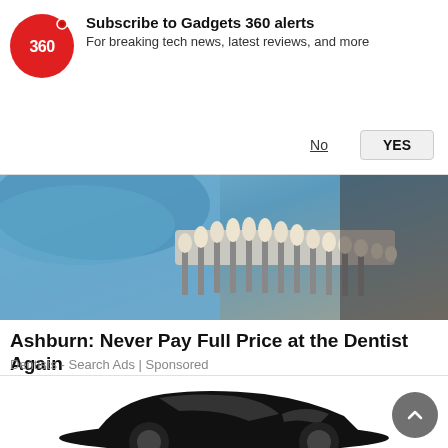[Figure (screenshot): Gadgets 360 subscription notification bar with red circular logo showing '360', bold title 'Subscribe to Gadgets 360 alerts', subtitle 'For breaking tech news, latest reviews, and more', and two buttons: 'No' (underlined text) and 'YES' (grey button)]
[Figure (photo): Close-up of dental veneers/tooth color swatches being held by gloved hand (blue surgical glove), showing multiple tooth-shaped samples in a row]
Ashburn: Never Pay Full Price at the Dentist Again
Dentists - Search Ads | Sponsored
[Figure (illustration): Black silhouette illustration of a sports car (low profile, coupe style) viewed from the front-side angle, partially visible at the bottom of the page]